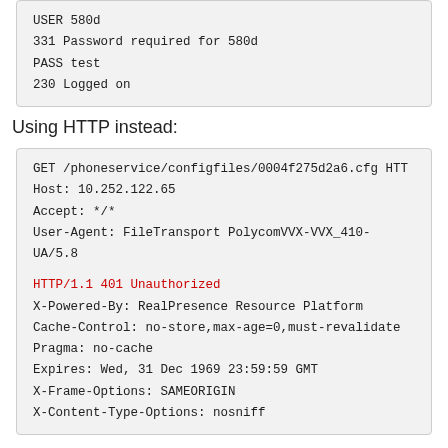USER 580d
331 Password required for 580d
PASS test
230 Logged on
Using HTTP instead:
GET /phoneservice/configfiles/0004f275d2a6.cfg HTT
Host: 10.252.122.65
Accept: */*
User-Agent: FileTransport PolycomVVX-VVX_410-UA/5.8

HTTP/1.1 401 Unauthorized
X-Powered-By: RealPresence Resource Platform
Cache-Control: no-store,max-age=0,must-revalidate
Pragma: no-cache
Expires: Wed, 31 Dec 1969 23:59:59 GMT
X-Frame-Options: SAMEORIGIN
X-Content-Type-Options: nosniff